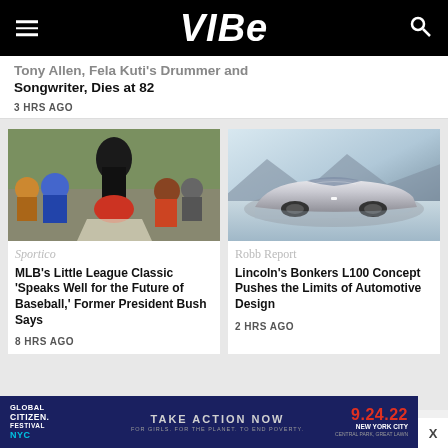VIBE
Songwriter, Dies at 82
3 HRS AGO
[Figure (photo): Outdoor crowd scene at a Little League Classic event, people sitting on the ground]
Sportico
MLB's Little League Classic 'Speaks Well for the Future of Baseball,' Former President Bush Says
8 HRS AGO
[Figure (photo): Lincoln L100 Concept Car, a sleek futuristic silver sedan on a flat surface]
Robb Report
Lincoln's Bonkers L100 Concept Pushes the Limits of Automotive Design
2 HRS AGO
[Figure (infographic): Global Citizen Festival NYC advertisement: TAKE ACTION NOW, 9.24.22, New York City, Central Park, Great Lawn]